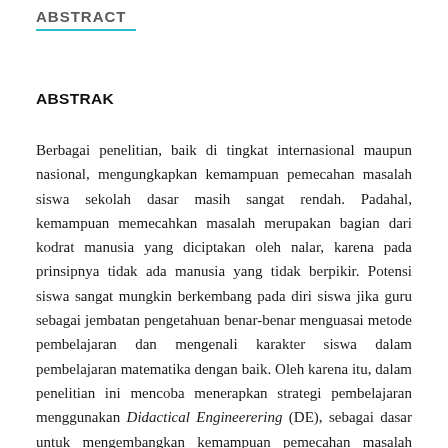ABSTRACT
ABSTRAK
Berbagai penelitian, baik di tingkat internasional maupun nasional, mengungkapkan kemampuan pemecahan masalah siswa sekolah dasar masih sangat rendah. Padahal, kemampuan memecahkan masalah merupakan bagian dari kodrat manusia yang diciptakan oleh nalar, karena pada prinsipnya tidak ada manusia yang tidak berpikir. Potensi siswa sangat mungkin berkembang pada diri siswa jika guru sebagai jembatan pengetahuan benar-benar menguasai metode pembelajaran dan mengenali karakter siswa dalam pembelajaran matematika dengan baik. Oleh karena itu, dalam penelitian ini mencoba menerapkan strategi pembelajaran menggunakan Didactical Engineerering (DE), sebagai dasar untuk mengembangkan kemampuan pemecahan masalah siswa SD. Harapannya,